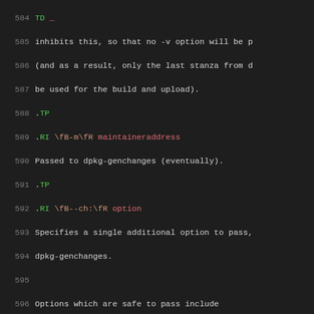Source code / man page content lines 584-614
584: TD _
585: inhibits this, so that no -v option will be p
586: (and as a result, only the last stanza from d
587: be used for the build and upload).
588: .TP
589: .RI \fB-m\fR maintaineraddress
590: Passed to dpkg-genchanges (eventually).
591: .TP
592: .RI \fB--ch:\fR option
593: Specifies a single additional option to pass,
594: dpkg-genchanges.
595: (blank)
596: Options which are safe to pass include
597: .BR -C
598: (and also
599: .BR "-si -sa -sd"
600: although these should never be necessary with
601: automatically calculates whether .origs need
602: (blank)
603: For other options the caveat below applies.
604: .TP
605: .RI \fB--curl:\fR option " | \fB--dput:\fR" d
606: Specifies a single additional option to pass
607: .BR curl ,
608: .BR dput ,
609: .BR debsign ,
610: .BR dpkg-source ,
611: .BR dpkg-buildpackage ,
612: .BR dpkg-genchanges ,
613: .BR sbuild ,
614: .BR ssh ,